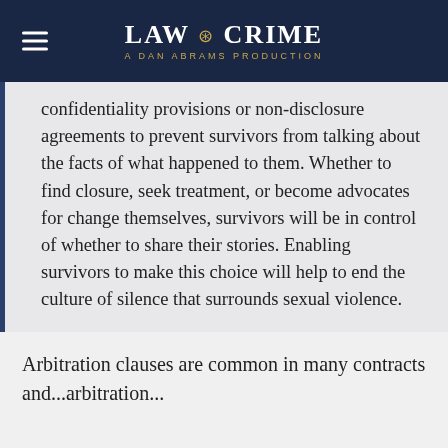LAW & CRIME — A DAN ABRAMS PRODUCTION
confidentiality provisions or non-disclosure agreements to prevent survivors from talking about the facts of what happened to them. Whether to find closure, seek treatment, or become advocates for change themselves, survivors will be in control of whether to share their stories. Enabling survivors to make this choice will help to end the culture of silence that surrounds sexual violence.
Arbitration clauses are common in many contracts and...